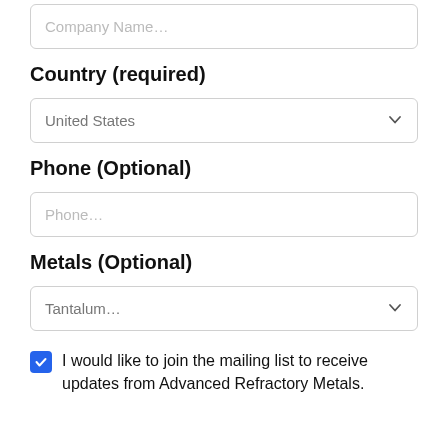Company Name…
Country (required)
United States
Phone (Optional)
Phone…
Metals (Optional)
Tantalum…
I would like to join the mailing list to receive updates from Advanced Refractory Metals.